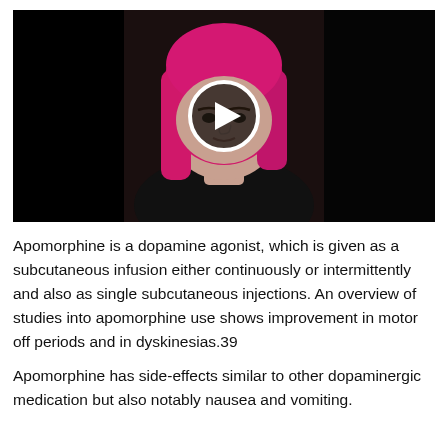[Figure (screenshot): Video thumbnail showing a person with bright pink/magenta hair wearing a black top, with large black bars on left and right sides. A white-bordered circular play button is overlaid in the center of the image.]
Apomorphine is a dopamine agonist, which is given as a subcutaneous infusion either continuously or intermittently and also as single subcutaneous injections. An overview of studies into apomorphine use shows improvement in motor off periods and in dyskinesias.39
Apomorphine has side-effects similar to other dopaminergic medication but also notably nausea and vomiting.